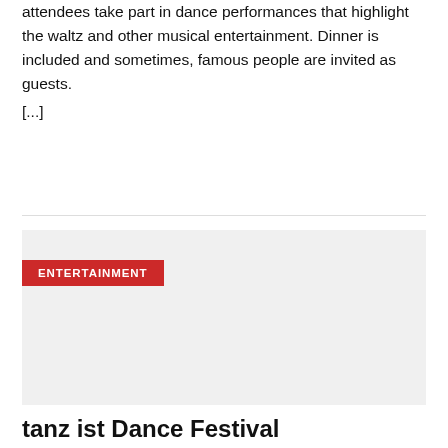attendees take part in dance performances that highlight the waltz and other musical entertainment. Dinner is included and sometimes, famous people are invited as guests.
[...]
[Figure (photo): Gray placeholder image for an article about tanz ist Dance Festival, with a red ENTERTAINMENT badge overlaid in the upper left area.]
tanz ist Dance Festival
Josh
Music is a huge part of Vienna hence it should be no surprise